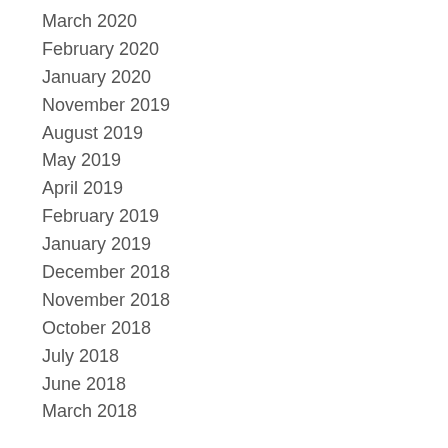March 2020
February 2020
January 2020
November 2019
August 2019
May 2019
April 2019
February 2019
January 2019
December 2018
November 2018
October 2018
July 2018
June 2018
March 2018